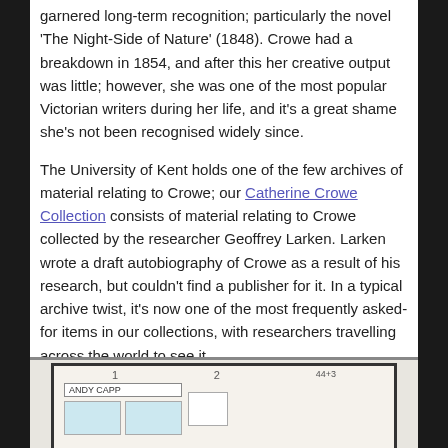garnered long-term recognition; particularly the novel 'The Night-Side of Nature' (1848). Crowe had a breakdown in 1854, and after this her creative output was little; however, she was one of the most popular Victorian writers during her life, and it's a great shame she's not been recognised widely since.
The University of Kent holds one of the few archives of material relating to Crowe; our Catherine Crowe Collection consists of material relating to Crowe collected by the researcher Geoffrey Larken. Larken wrote a draft autobiography of Crowe as a result of his research, but couldn't find a publisher for it. In a typical archive twist, it's now one of the most frequently asked-for items in our collections, with researchers travelling across the world to see it.
Flo (Andy Capp cartoons)
[Figure (illustration): Scanned image of Andy Capp cartoon strips with panel boxes visible]